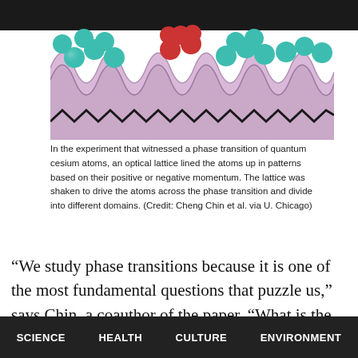[Figure (illustration): Scientific illustration of an optical lattice with cesium atoms. Shows a zigzag/wave-shaped lattice structure (pink/lavender colored corrugated surface) with teal/green spherical atoms arranged in rows and some red spherical atoms clustered in the middle section, representing quantum cesium atoms in different momentum states.]
In the experiment that witnessed a phase transition of quantum cesium atoms, an optical lattice lined the atoms up in patterns based on their positive or negative momentum. The lattice was shaken to drive the atoms across the phase transition and divide into different domains. (Credit: Cheng Chin et al. via U. Chicago)
“We study phase transitions because it is one of the most fundamental questions that puzzle us,” says Chin, a coauthor of the paper. “What is the origin of the complex
SCIENCE   HEALTH   CULTURE   ENVIRONMENT